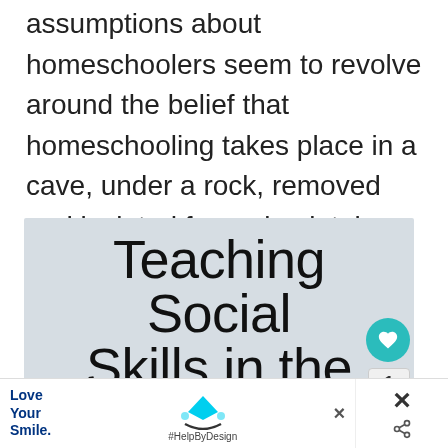assumptions about homeschoolers seem to revolve around the belief that homeschooling takes place in a cave, under a rock, removed and isolated from absolutely everyone.
[Figure (illustration): Promotional image with light gray background showing large text 'Teaching Social Skills in the' in thin sans-serif font, followed by partial cursive red text (Homeschool) cut off at bottom. A teal heart button and number badge '1' appear on the right side.]
[Figure (infographic): Advertisement bar at the bottom with 'Love Your Smile.' text in blue, a dental hygiene icon with a cyan pentagon shape, '#HelpByDesign' branding, and close/share icons on the right.]